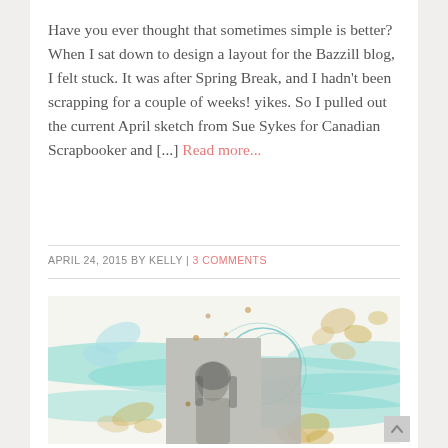Have you ever thought that sometimes simple is better?  When I sat down to design a layout for the Bazzill blog, I felt stuck. It was after Spring Break, and I hadn't been scrapping for a couple of weeks! yikes. So I pulled out the current April sketch from Sue Sykes for Canadian Scrapbooker and [...] Read more...
APRIL 24, 2015 BY KELLY | 3 COMMENTS
[Figure (photo): A scrapbook layout page with teal/mint watercolor stripe background, gold floral embellishments, circular doodle overlays, a light blue butterfly shape, and a central black-and-white photo of a young woman with long hair.]